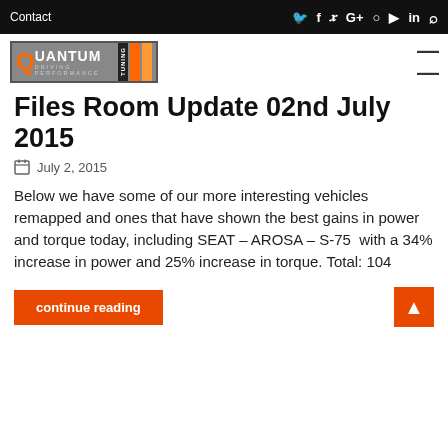Contact | social icons
[Figure (logo): Quantum Tuning - Driving Performance logo with orange bars]
Files Room Update 02nd July 2015
July 2, 2015
Below we have some of our more interesting vehicles remapped and ones that have shown the best gains in power and torque today, including SEAT – AROSA – S-75  with a 34% increase in power and 25% increase in torque. Total: 104
continue reading